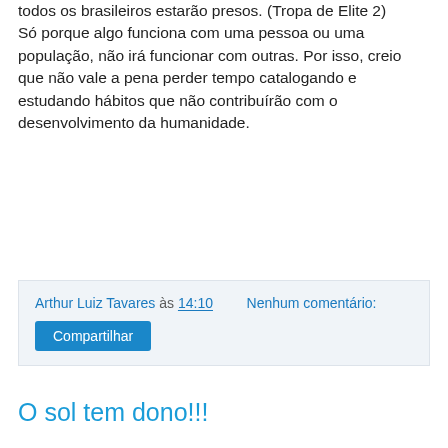todos os brasileiros estarão presos. (Tropa de Elite 2) Só porque algo funciona com uma pessoa ou uma população, não irá funcionar com outras. Por isso, creio que não vale a pena perder tempo catalogando e estudando hábitos que não contribuírão com o desenvolvimento da humanidade.
Arthur Luiz Tavares às 14:10   Nenhum comentário:
Compartilhar
O sol tem dono!!!
Notícia:
--------------------------------------------------------------------------------
----------
26/11/2010 14h34 - Atualizado em 26/11/2010 15h00
Espanhola registra a propriedade do Sol num